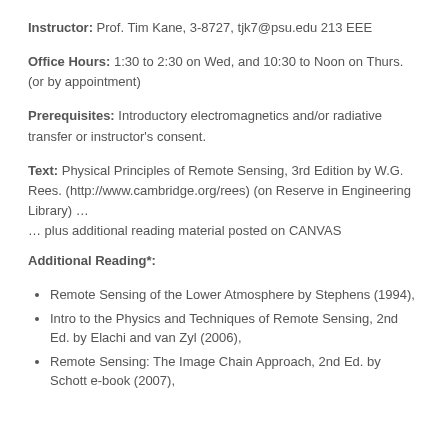Instructor: Prof. Tim Kane, 3-8727, tjk7@psu.edu 213 EEE
Office Hours: 1:30 to 2:30 on Wed, and 10:30 to Noon on Thurs. (or by appointment)
Prerequisites: Introductory electromagnetics and/or radiative transfer or instructor's consent.
Text: Physical Principles of Remote Sensing, 3rd Edition by W.G. Rees. (http://www.cambridge.org/rees) (on Reserve in Engineering Library) …
… plus additional reading material posted on CANVAS
Additional Reading*:
Remote Sensing of the Lower Atmosphere by Stephens (1994),
Intro to the Physics and Techniques of Remote Sensing, 2nd Ed. by Elachi and van Zyl (2006),
Remote Sensing: The Image Chain Approach, 2nd Ed. by Schott e-book (2007),